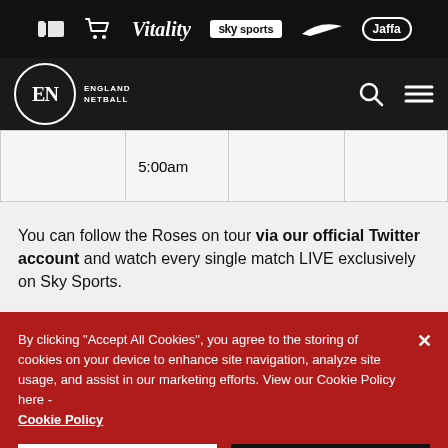England Netball website header with sponsor logos: Vitality, Sky Sports, Nike, Jaffa, ticket icon, cart icon
|  | 5:00am |  |  |
You can follow the Roses on tour via our official Twitter account and watch every single match LIVE exclusively on Sky Sports.
By clicking "Accept All Cookies", you agree to the storing of cookies on your device to enhance site navigation, analyze site usage, and assist in our marketing efforts. View our Cookie Policy here - Cookie Policy
Cookies Settings | Accept All Cookies